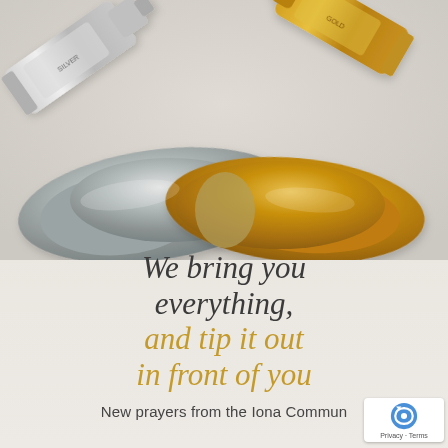[Figure (illustration): Two paint tubes tipped over and spilling their contents — one silver/grey metallic paint on the left and one gold/yellow metallic paint on the right — onto a light cream background. The two pools of paint meet and overlap slightly in the center bottom of the image area.]
We bring you everything, and tip it out in front of you
New prayers from the Iona Commun